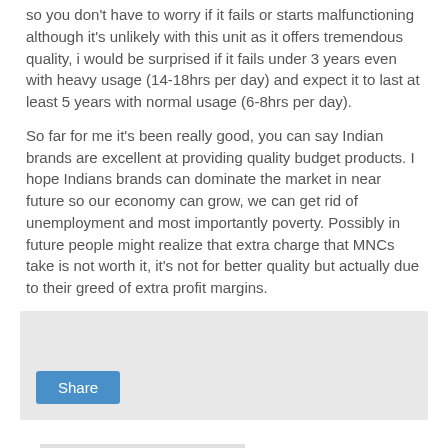so you don't have to worry if it fails or starts malfunctioning although it's unlikely with this unit as it offers tremendous quality, i would be surprised if it fails under 3 years even with heavy usage (14-18hrs per day) and expect it to last at least 5 years with normal usage (6-8hrs per day).
So far for me it's been really good, you can say Indian brands are excellent at providing quality budget products. I hope Indians brands can dominate the market in near future so our economy can grow, we can get rid of unemployment and most importantly poverty. Possibly in future people might realize that extra charge that MNCs take is not worth it, it's not for better quality but actually due to their greed of extra profit margins.
[Figure (other): Share button box with light gray background]
Saturday, 26 May 2018
If OnePlus Phones can be priced